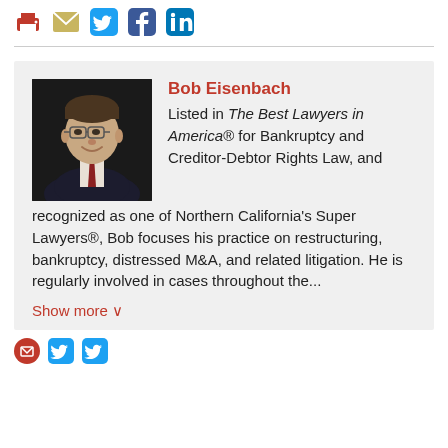[Figure (infographic): Social sharing icons: print (red), email (tan/gold), Twitter (blue), Facebook (blue), LinkedIn (blue)]
[Figure (photo): Professional headshot of Bob Eisenbach, a man in a dark suit with glasses, smiling against a dark background]
Bob Eisenbach
Listed in The Best Lawyers in America® for Bankruptcy and Creditor-Debtor Rights Law, and recognized as one of Northern California's Super Lawyers®, Bob focuses his practice on restructuring, bankruptcy, distressed M&A, and related litigation. He is regularly involved in cases throughout the...
Show more